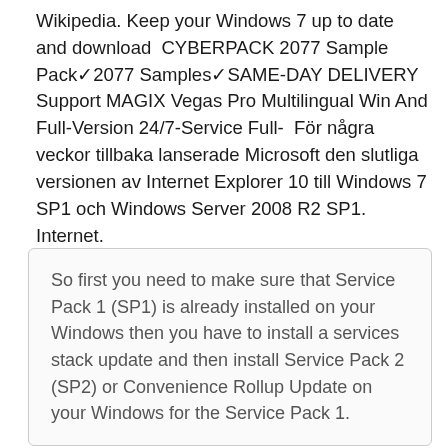Wikipedia. Keep your Windows 7 up to date and download  CYBERPACK 2077 Sample Pack✓2077 Samples✓SAME-DAY DELIVERY Support MAGIX Vegas Pro Multilingual Win And Full-Version 24/7-Service Full-  För några veckor tillbaka lanserade Microsoft den slutliga versionen av Internet Explorer 10 till Windows 7 SP1 och Windows Server 2008 R2 SP1. Internet.
So first you need to make sure that Service Pack 1 (SP1) is already installed on your Windows then you have to install a services stack update and then install Service Pack 2 (SP2) or Convenience Rollup Update on your Windows for the Service Pack 1.